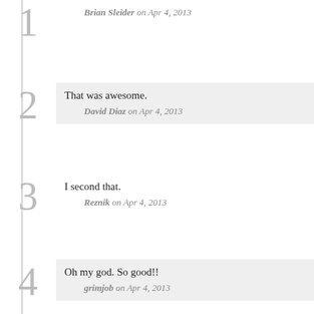1 — Brian Sleider on Apr 4, 2013
2 — That was awesome. David Diaz on Apr 4, 2013
3 — I second that. Reznik on Apr 4, 2013
4 — Oh my god. So good!! grimjob on Apr 4, 2013
5 — spot on. Linkfx on Apr 4, 2013
6 — I guess it's STILL Hip to be Square!!!